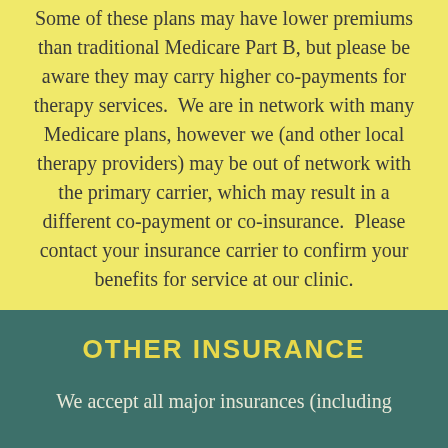Some of these plans may have lower premiums than traditional Medicare Part B, but please be aware they may carry higher co-payments for therapy services. We are in network with many Medicare plans, however we (and other local therapy providers) may be out of network with the primary carrier, which may result in a different co-payment or co-insurance. Please contact your insurance carrier to confirm your benefits for service at our clinic.
OTHER INSURANCE
We accept all major insurances (including